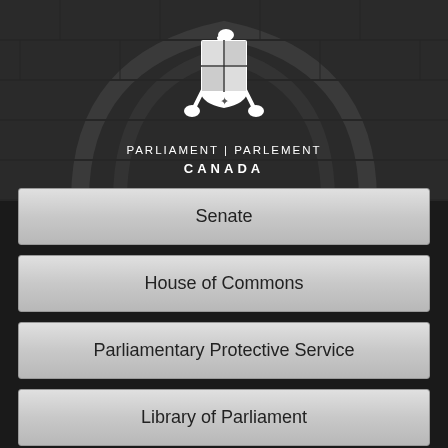[Figure (logo): Parliament Canada coat of arms logo with crossed maces, white on dark background]
Parliament | Parlement
CANADA
Senate
House of Commons
Parliamentary Protective Service
Library of Parliament
Employment at Parliament